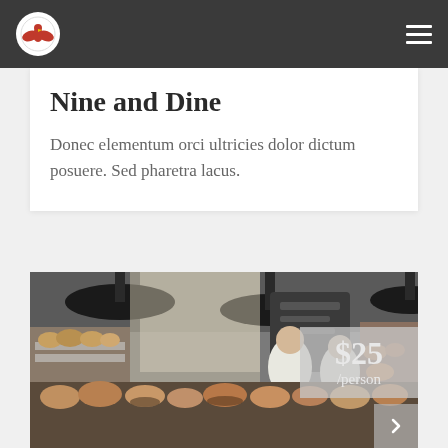Nine and Dine — navigation bar with logo and hamburger menu
Nine and Dine
Donec elementum orci ultricies dolor dictum posuere. Sed pharetra lacus.
[Figure (photo): Interior of a bakery/cafe with hanging black pendant lights, display counter with pastries and baked goods, two staff members in white shirts visible in background, price overlay showing $25/person in top right corner]